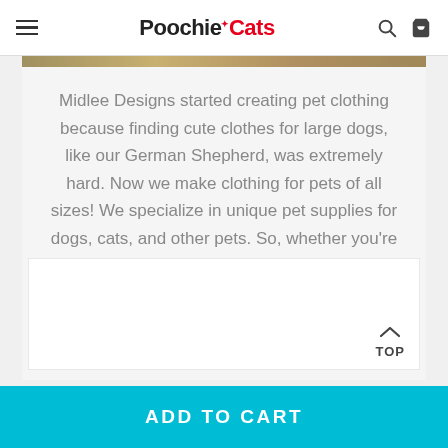PoochieCats
Midlee Designs started creating pet clothing because finding cute clothes for large dogs, like our German Shepherd, was extremely hard. Now we make clothing for pets of all sizes! We specialize in unique pet supplies for dogs, cats, and other pets. So, whether you're looking for the perfect outfit, toy, or pet health supplies, we've got it all!
TOP